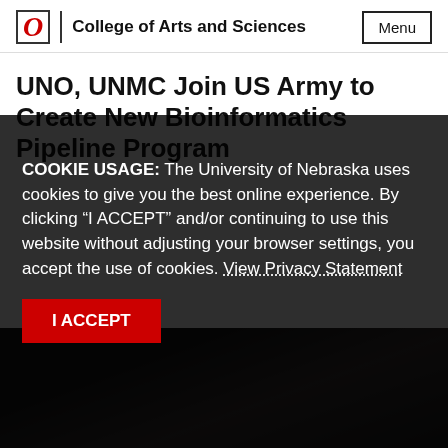O | College of Arts and Sciences | Menu
UNO, UNMC Join US Army to Create New Bioinformatics Pipeline Program
COOKIE USAGE: The University of Nebraska uses cookies to give you the best online experience. By clicking “I ACCEPT” and/or continuing to use this website without adjusting your browser settings, you accept the use of cookies. View Privacy Statement
I ACCEPT
[Figure (photo): Dark background photo showing people in a meeting or lab setting, partially obscured by the cookie consent overlay]